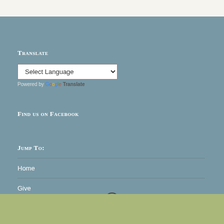Translate
[Figure (screenshot): Google Translate widget with a 'Select Language' dropdown selector]
Powered by Google Translate
Find us on Facebook
Jump To:
Home
Give
[Figure (logo): WordPress logo icon]
[Figure (logo): Facebook icon in green footer bar]